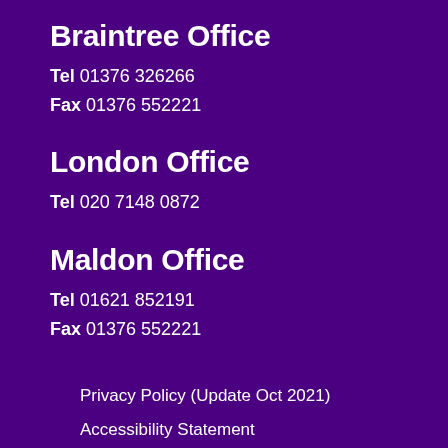Braintree Office
Tel 01376 326266
Fax 01376 552221
London Office
Tel 020 7148 0872
Maldon Office
Tel 01621 852191
Fax 01376 552221
Privacy Policy (Update Oct 2021)
Accessibility Statement
Copyright